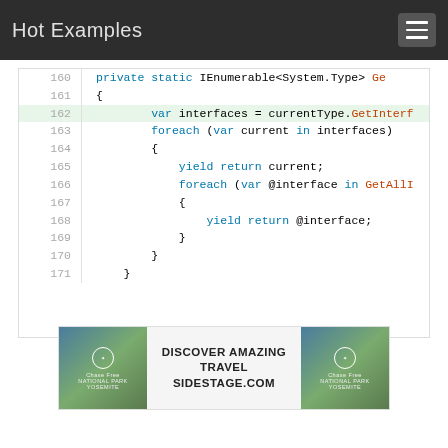Hot Examples
[Figure (screenshot): Code snippet showing C# method lines 160-171 with syntax highlighting. Line 162 is highlighted in green. Code shows a private static IEnumerable<System.Type> method with foreach loops using yield return statements.]
[Figure (other): Advertisement banner for DISCOVER AMAZING TRAVEL SIDESTAGE.COM with Yosemite mountain scenery images on both sides.]